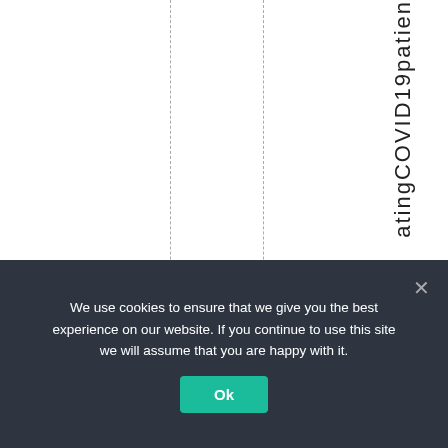[Figure (other): White page area with two vertical dashed lines and rotated vertical text reading 'atingCOVID19patien' on the right side]
We use cookies to ensure that we give you the best experience on our website. If you continue to use this site we will assume that you are happy with it.
Ok